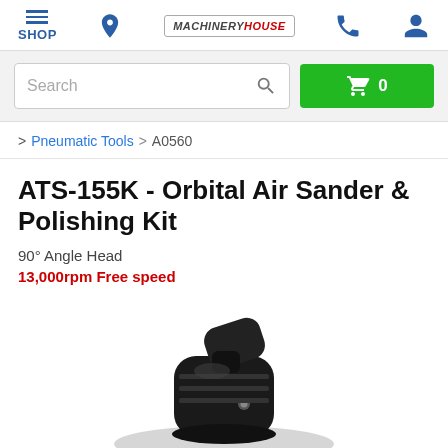SHOP | Machinery House | Phone | Account
Search
0 (cart)
> Pneumatic Tools > A0560
ATS-155K - Orbital Air Sander & Polishing Kit
90° Angle Head
13,000rpm Free speed
[Figure (photo): Photo of ATS-155K Orbital Air Sander black tool head]